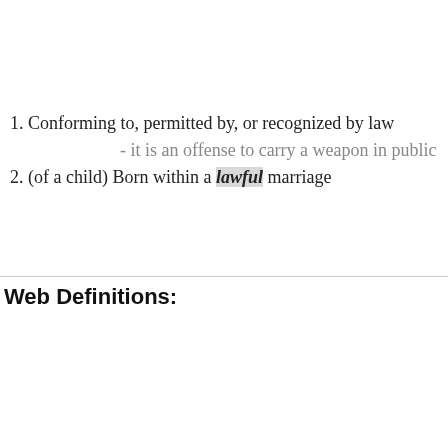1. Conforming to, permitted by, or recognized by law
- it is an offense to carry a weapon in public
2. (of a child) Born within a lawful marriage
Web Definitions: